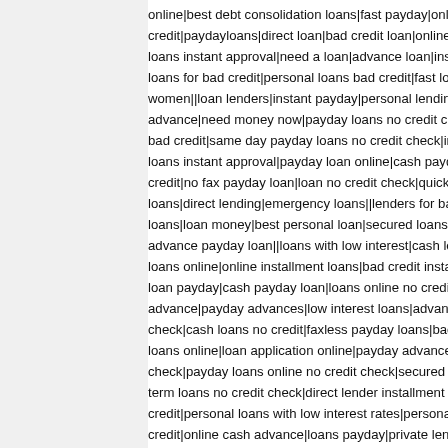online|best debt consolidation loans|fast payday|online pa credit|paydayloans|direct loan|bad credit loan|online loan|s loans instant approval|need a loan|advance loan|installme loans for bad credit|personal loans bad credit|fast loan|per women||loan lenders|instant payday|personal lending|poor advance|need money now|payday loans no credit check s bad credit|same day payday loans no credit check|installm loans instant approval|payday loan online|cash payday loa credit|no fax payday loan|loan no credit check|quick mone loans|direct lending|emergency loans||lenders for bad cred loans|loan money|best personal loan|secured loans|payda advance payday loan||loans with low interest|cash loans o loans online|online installment loans|bad credit installment loan payday|cash payday loan|loans online no credit chec advance|payday advances|low interest loans|advance cas check|cash loans no credit|faxless payday loans|bad credi loans online|loan application online|payday advance loan| check|payday loans online no credit check|secured loan|p term loans no credit check|direct lender installment loans| credit|personal loans with low interest rates|personal loans credit|online cash advance|loans payday|private lenders|b payday loans|best payday loans|online personal loans|cas bad credit|payday loans online|pay day loans|online...